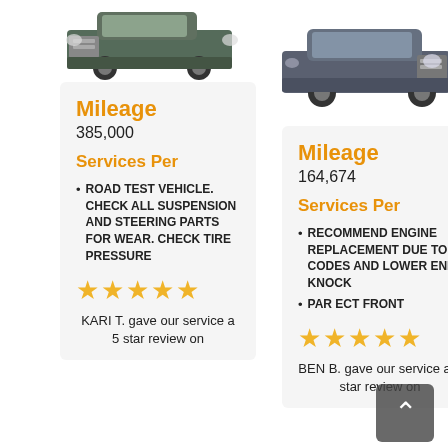[Figure (photo): Dark green/grey SUV truck, front view, partially cropped at bottom, left side of page]
[Figure (photo): Dark grey SUV truck, front-quarter view, right side of page]
Mileage
385,000
Services Per
ROAD TEST VEHICLE. CHECK ALL SUSPENSION AND STEERING PARTS FOR WEAR. CHECK TIRE PRESSURE
[Figure (other): 5 gold/orange stars rating]
KARI T. gave our service a 5 star review on
Mileage
164,674
Services Per
RECOMMEND ENGINE REPLACEMENT DUE TO CODES AND LOWER END KNOCK
PAR ECT FRONT
[Figure (other): 4.5 gold/orange stars rating]
BEN B. gave our service a 5 star review on